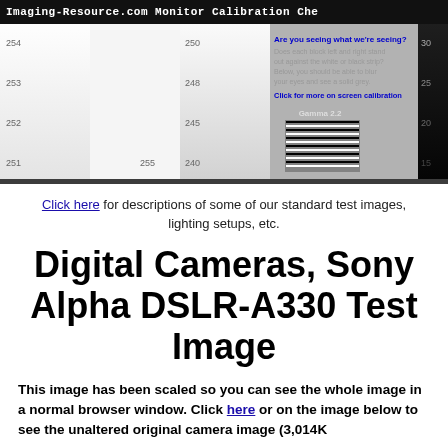Imaging-Resource.com Monitor Calibration Che
[Figure (infographic): Monitor calibration chart showing gradient strips with numeric labels (254, 253, 252, 251, 255, 250, 248, 245, 240) and calibration info panel with Gamma 2.2 striped box. Right side dark gradient strip with labels 30, 25, 20, 15.]
Click here for descriptions of some of our standard test images, lighting setups, etc.
Digital Cameras, Sony Alpha DSLR-A330 Test Image
This image has been scaled so you can see the whole image in a normal browser window. Click here or on the image below to see the unaltered original camera image (3,014K